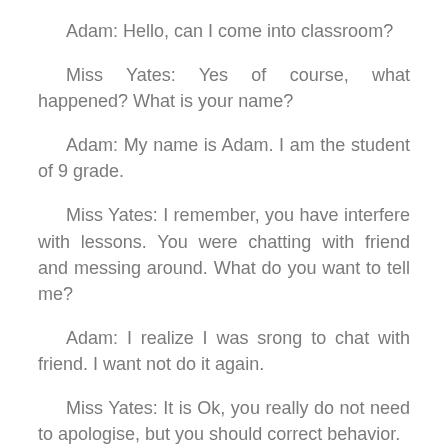Adam: Hello, can I come into classroom?
Miss Yates: Yes of course, what happened? What is your name?
Adam: My name is Adam. I am the student of 9 grade.
Miss Yates: I remember, you have interfere with lessons. You were chatting with friend and messing around. What do you want to tell me?
Adam: I realize I was srong to chat with friend. I want not do it again.
Miss Yates: It is Ok, you really do not need to apologise, but you should correct behavior.
Adam: Well, goodbye.